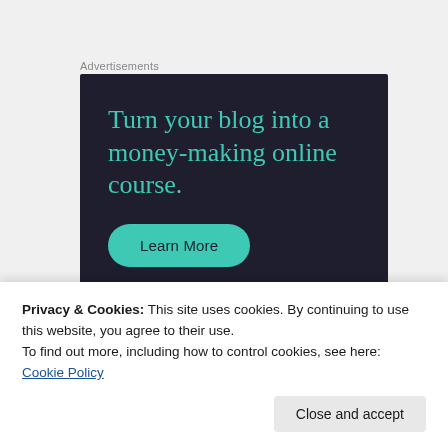Advertisements
[Figure (illustration): Dark navy advertisement banner for Sensei platform. Large teal serif text reads 'Turn your blog into a money-making online course.' with a teal 'Learn More' pill button and the Sensei logo in the bottom right corner.]
Privacy & Cookies: This site uses cookies. By continuing to use this website, you agree to their use.
To find out more, including how to control cookies, see here: Cookie Policy
Close and accept